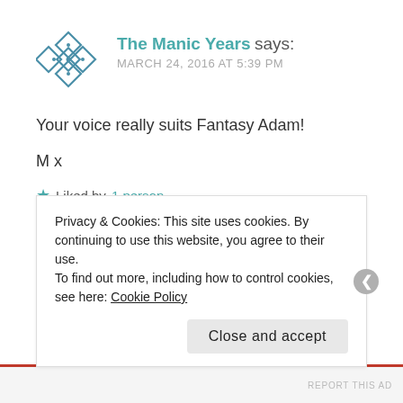[Figure (illustration): Geometric snowflake/diamond avatar icon in teal/blue]
The Manic Years says:
MARCH 24, 2016 AT 5:39 PM
Your voice really suits Fantasy Adam!
M x
★ Liked by 1 person
REPLY ↩
Privacy & Cookies: This site uses cookies. By continuing to use this website, you agree to their use.
To find out more, including how to control cookies, see here: Cookie Policy
Close and accept